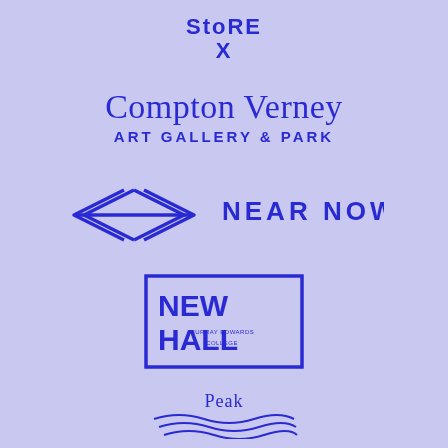[Figure (logo): StoRE X logo in blue text on lavender background]
[Figure (logo): Compton Verney Art Gallery & Park logo in blue serif/sans text]
[Figure (logo): Near Now logo with geometric infinity-like symbol and bold text NEAR NOW]
[Figure (logo): New Hall Art Collection logo in bordered box, Murray Edwards College]
[Figure (logo): Peak logo with wavy lines below, partially visible at bottom]